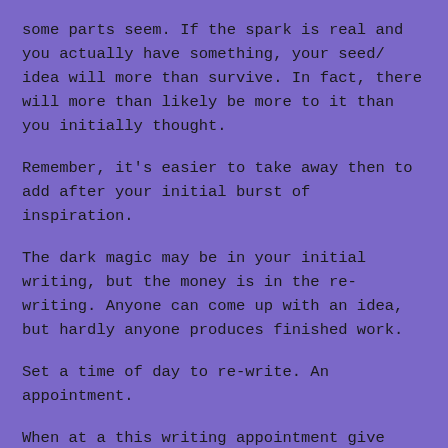some parts seem. If the spark is real and you actually have something, your seed/ idea will more than survive. In fact, there will more than likely be more to it than you initially thought.
Remember, it's easier to take away then to add after your initial burst of inspiration.
The dark magic may be in your initial writing, but the money is in the re-writing. Anyone can come up with an idea, but hardly anyone produces finished work.
Set a time of day to re-write. An appointment.
When at a this writing appointment give yourself 2 options: write or do nothing; not internet nothing. Absolutely nothing; just sit there. (This is advice is from Neil Gaiman, and he knows.)